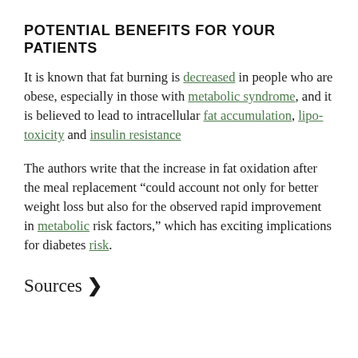POTENTIAL BENEFITS FOR YOUR PATIENTS
It is known that fat burning is decreased in people who are obese, especially in those with metabolic syndrome, and it is believed to lead to intracellular fat accumulation, lipo-toxicity and insulin resistance
The authors write that the increase in fat oxidation after the meal replacement “could account not only for better weight loss but also for the observed rapid improvement in metabolic risk factors,” which has exciting implications for diabetes risk.
Sources ❯